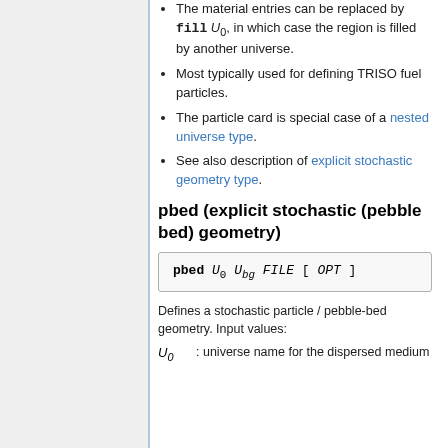The material entries can be replaced by fill U_0, in which case the region is filled by another universe.
Most typically used for defining TRISO fuel particles.
The particle card is special case of a nested universe type.
See also description of explicit stochastic geometry type.
pbed (explicit stochastic (pebble bed) geometry)
Defines a stochastic particle / pebble-bed geometry. Input values:
U_0 : universe name for the dispersed medium